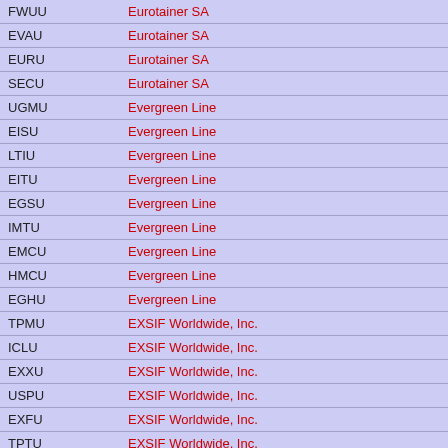| Code | Company |
| --- | --- |
| FWUU | Eurotainer SA |
| EVAU | Eurotainer SA |
| EURU | Eurotainer SA |
| SECU | Eurotainer SA |
| UGMU | Evergreen Line |
| EISU | Evergreen Line |
| LTIU | Evergreen Line |
| EITU | Evergreen Line |
| EGSU | Evergreen Line |
| IMTU | Evergreen Line |
| EMCU | Evergreen Line |
| HMCU | Evergreen Line |
| EGHU | Evergreen Line |
| TPMU | EXSIF Worldwide, Inc. |
| ICLU | EXSIF Worldwide, Inc. |
| EXXU | EXSIF Worldwide, Inc. |
| USPU | EXSIF Worldwide, Inc. |
| EXFU | EXSIF Worldwide, Inc. |
| TPTU | EXSIF Worldwide, Inc. |
| FESU | Far Eastern Shipping Company |
| FCCU | Far Eastern Shipping Company |
| FBXU | Flex-Box Limited |
| FXBU | Flex-Box Limited |